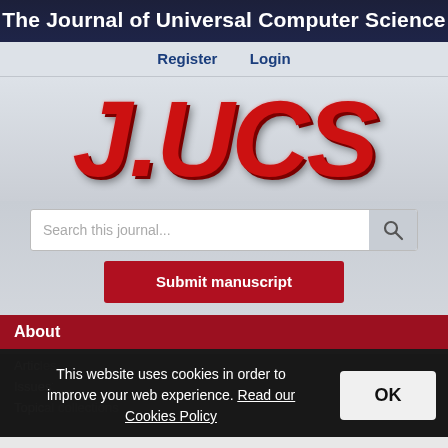The Journal of Universal Computer Science
Register  Login
[Figure (logo): J.UCS red 3D italic logo on light gray background]
Search this journal...
Submit manuscript
About
Articles
Issues
Topical collections
This website uses cookies in order to improve your web experience. Read our Cookies Policy